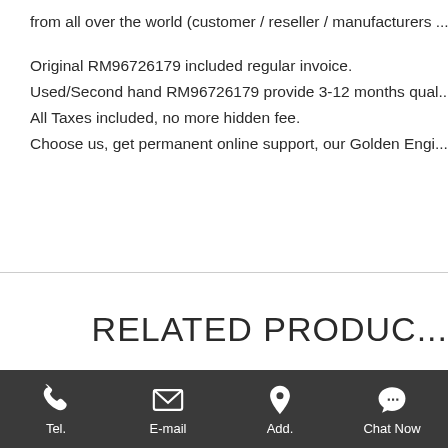from all over the world (customer / reseller / manufacturers ...
Original RM96726179 included regular invoice.
Used/Second hand RM96726179 provide 3-12 months qual...
All Taxes included, no more hidden fee.
Choose us, get permanent online support, our Golden Engi...
RELATED PRODUC...
Tel.  E-mail  Add.  Chat Now